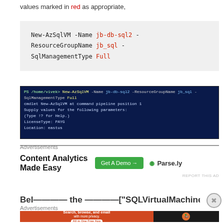values marked in red as appropriate,
[Figure (screenshot): Terminal/PowerShell window showing: PS /home/vivek> New-AzSqlVM -Name jb-db-sql2 -ResourceGroupName jb_sql -SqlManagementType Full. Output: cmdlet New-AzSqlVM at command pipeline position 1, Supply values for the following parameters:, (Type !? for Help.), LicenseType: PAYG, Location: eastus]
[Figure (infographic): Advertisement banner: Content Analytics Made Easy with Get A Demo button and Parse.ly branding]
Advertisements
REPORT THIS AD
[Figure (screenshot): Partial text visible at bottom of page]
Advertisements
[Figure (infographic): DuckDuckGo advertisement: Search, browse, and email with more privacy. All in One Free App]